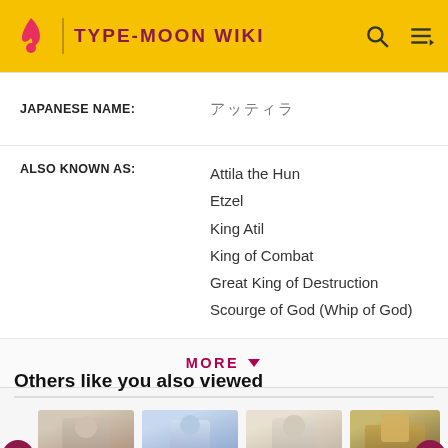TYPE-MOON WIKI
| JAPANESE NAME: | アッティラ |
| ALSO KNOWN AS: | Attila the Hun
Etzel
King Atil
King of Combat
Great King of Destruction
Scourge of God (Whip of God) |
MORE
Others like you also viewed
[Figure (photo): Thumbnail image of Altera (Fate/ character)]
Altera (Fate/...
[Figure (photo): Thumbnail image of Velber 02 character]
Velber 02
[Figure (photo): Thumbnail image of Altera Larva character]
Altera Larva
[Figure (photo): Thumbnail image for List of minor characters]
List of minor